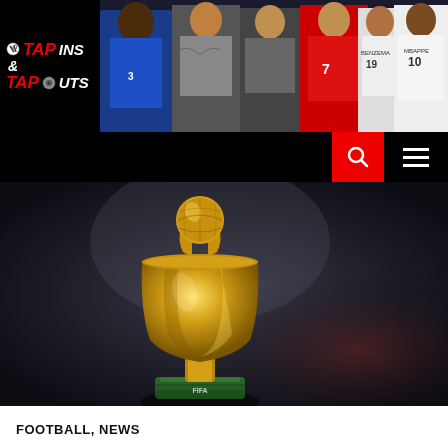TAP INS & TAP OUTS — sports blog header with logo and navigation
[Figure (photo): FIFA World Cup trophy on dark blurred background, golden trophy centered]
FOOTBALL, NEWS